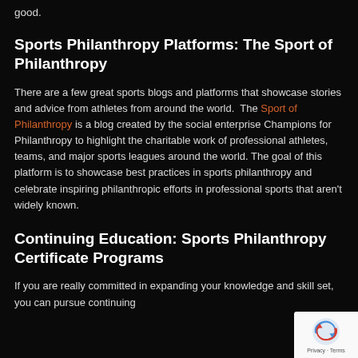good.
Sports Philanthropy Platforms: The Sport of Philanthropy
There are a few great sports blogs and platforms that showcase stories and advice from athletes from around the world. The Sport of Philanthropy is a blog created by the social enterprise Champions for Philanthropy to highlight the charitable work of professional athletes, teams, and major sports leagues around the world. The goal of this platform is to showcase best practices in sports philanthropy and celebrate inspiring philanthropic efforts in professional sports that aren't widely known.
Continuing Education: Sports Philanthropy Certificate Programs
If you are really committed in expanding your knowledge and skill set, you can pursue continuing